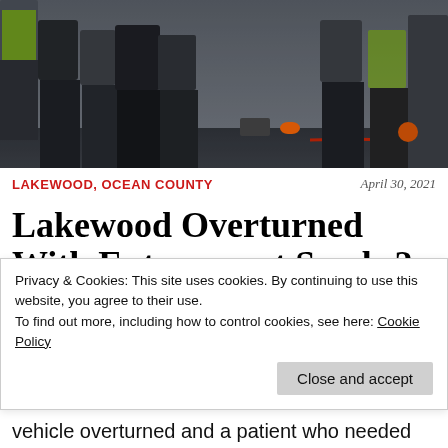[Figure (photo): Emergency responders and bystanders at a road accident scene, viewed from waist down, on dark pavement with equipment visible]
LAKEWOOD, OCEAN COUNTY
April 30, 2021
Lakewood Overturned With Entrapment Sends 2 To Hospital
April 30, 2021
Privacy & Cookies: This site uses cookies. By continuing to use this website, you agree to their use.
To find out more, including how to control cookies, see here: Cookie Policy
vehicle overturned and a patient who needed